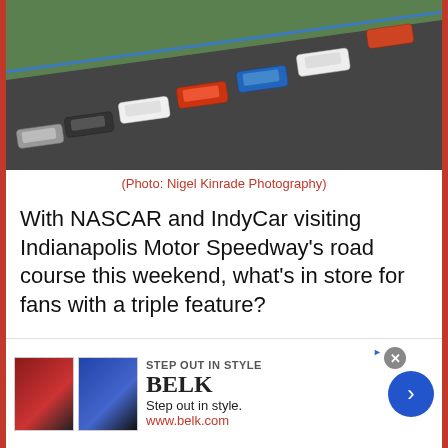[Figure (photo): NASCAR and IndyCar race cars navigating a curved road course track at Indianapolis Motor Speedway, aerial view showing multiple cars in a line on the asphalt with green infield grass visible]
(Photo: Nigel Kinrade Photography)
With NASCAR and IndyCar visiting Indianapolis Motor Speedway's road course this weekend, what's in store for fans with a triple feature?
Adam Cheek, Cup Series, Featured Content, NASCAR 101
AJ Allmendinger, Alexander Rossi, Austin